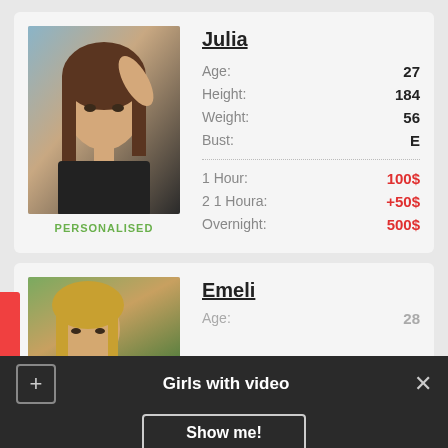[Figure (photo): Young woman with long brown hair, selfie style photo]
PERSONALISED
Julia
| Field | Value |
| --- | --- |
| Age: | 27 |
| Height: | 184 |
| Weight: | 56 |
| Bust: | E |
| 1 Hour: | 100$ |
| 2 1 Houra: | +50$ |
| Overnight: | 500$ |
[Figure (photo): Partial photo of a woman with blonde hair outdoors]
Emeli
Age:
Girls with video
Show me!